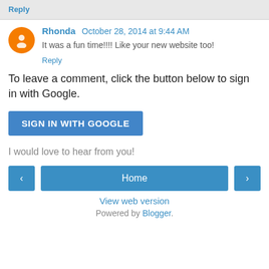Reply
Rhonda  October 28, 2014 at 9:44 AM
It was a fun time!!!! Like your new website too!
Reply
To leave a comment, click the button below to sign in with Google.
[Figure (screenshot): SIGN IN WITH GOOGLE button — a blue rounded rectangle button with white text]
I would love to hear from you!
[Figure (screenshot): Navigation bar with left arrow button, Home button, and right arrow button]
View web version
Powered by Blogger.